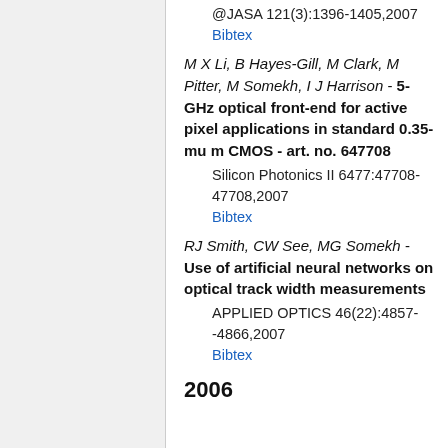@JASA 121(3):1396-1405,2007
Bibtex
M X Li, B Hayes-Gill, M Clark, M Pitter, M Somekh, I J Harrison - 5-GHz optical front-end for active pixel applications in standard 0.35-mu m CMOS - art. no. 647708
Silicon Photonics II 6477:47708-47708,2007
Bibtex
RJ Smith, CW See, MG Somekh - Use of artificial neural networks on optical track width measurements
APPLIED OPTICS 46(22):4857--4866,2007
Bibtex
2006